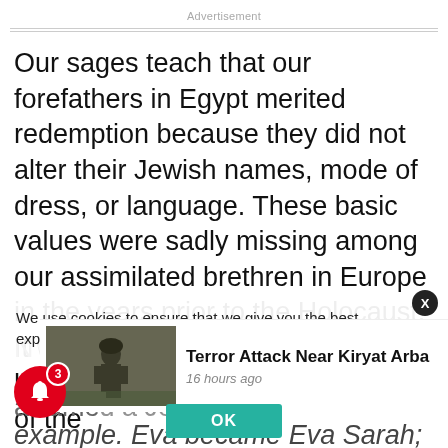Advertisement
Our sages teach that our forefathers in Egypt merited redemption because they did not alter their Jewish names, mode of dress, or language. These basic values were sadly missing among our assimilated brethren in Europe in the years prior to the Holocaust. It was so common for Jews to have only secular names that one of the
We use cookies to ensure that we give you the best experience on our website. If yo
[Figure (screenshot): News popup showing 'Terror Attack Near Kiryat Arba' with a thumbnail image of a soldier, timestamp '16 hours ago', and an OK button below]
example. Eva became Eva Sarah; Osca¡ becam